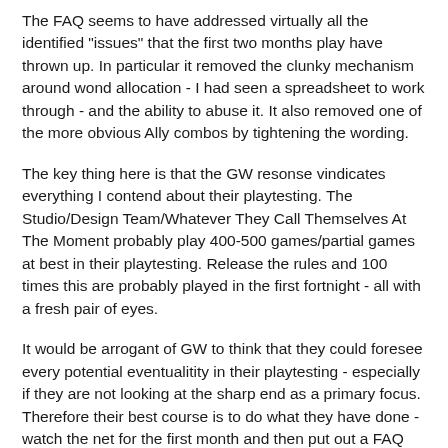The FAQ seems to have addressed virtually all the identified "issues" that the first two months play have thrown up. In particular it removed the clunky mechanism around wond allocation - I had seen a spreadsheet to work through - and the ability to abuse it. It also removed one of the more obvious Ally combos by tightening the wording.
The key thing here is that the GW resonse vindicates everything I contend about their playtesting. The Studio/Design Team/Whatever They Call Themselves At The Moment probably play 400-500 games/partial games at best in their playtesting. Release the rules and 100 times this are probably played in the first fortnight - all with a fresh pair of eyes.
It would be arrogant of GW to think that they could foresee every potential eventualitity in their playtesting - especially if they are not looking at the sharp end as a primary focus. Therefore their best course is to do what they have done - watch the net for the first month and then put out a FAQ that addrosses the flaws that come out.